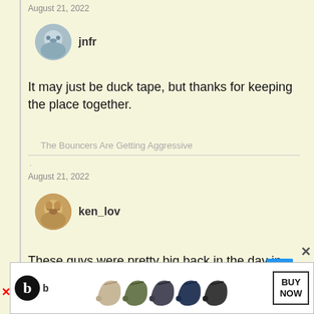August 21, 2022
jnfr
It may just be duck tape, but thanks for keeping the place together.
The Bouncers Are Getting Aggressive
.
August 21, 2022
ken_lov
These guys were pretty big back in the day in Australia.
[Figure (other): Advertisement banner for Beats earbuds showing multiple earbuds in different colors (beige, olive, dark gray, navy, charcoal) with a Buy Now button and Beats logo]